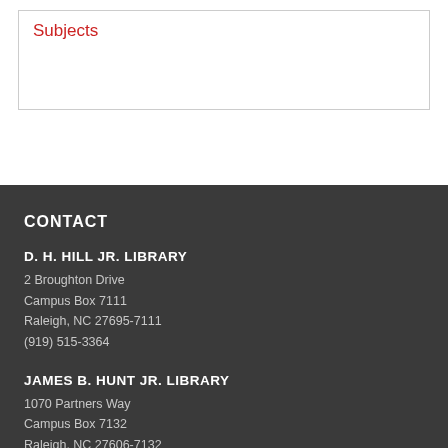Subjects
CONTACT
D. H. HILL JR. LIBRARY
2 Broughton Drive
Campus Box 7111
Raleigh, NC 27695-7111
(919) 515-3364
JAMES B. HUNT JR. LIBRARY
1070 Partners Way
Campus Box 7132
Raleigh, NC 27606-7132